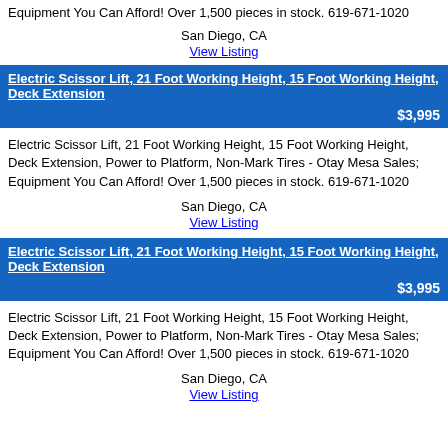Equipment You Can Afford! Over 1,500 pieces in stock. 619-671-1020
San Diego, CA
View Listing
Electric Scissor Lift, 21 Foot Working Height, 15 Foot Working Height, Deck Extension
$3,995
Electric Scissor Lift, 21 Foot Working Height, 15 Foot Working Height, Deck Extension, Power to Platform, Non-Mark Tires - Otay Mesa Sales; Equipment You Can Afford! Over 1,500 pieces in stock. 619-671-1020
San Diego, CA
View Listing
Electric Scissor Lift, 21 Foot Working Height, 15 Foot Working Height, Deck Extension
$3,995
Electric Scissor Lift, 21 Foot Working Height, 15 Foot Working Height, Deck Extension, Power to Platform, Non-Mark Tires - Otay Mesa Sales; Equipment You Can Afford! Over 1,500 pieces in stock. 619-671-1020
San Diego, CA
View Listing